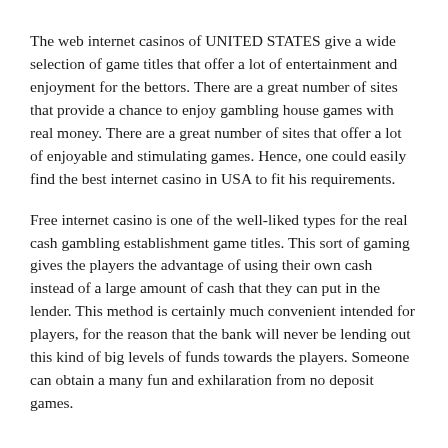The web internet casinos of UNITED STATES give a wide selection of game titles that offer a lot of entertainment and enjoyment for the bettors. There are a great number of sites that provide a chance to enjoy gambling house games with real money. There are a great number of sites that offer a lot of enjoyable and stimulating games. Hence, one could easily find the best internet casino in USA to fit his requirements.
Free internet casino is one of the well-liked types for the real cash gambling establishment game titles. This sort of gaming gives the players the advantage of using their own cash instead of a large amount of cash that they can put in the lender. This method is certainly much convenient intended for players, for the reason that the bank will never be lending out this kind of big levels of funds towards the players. Someone can obtain a many fun and exhilaration from no deposit games.